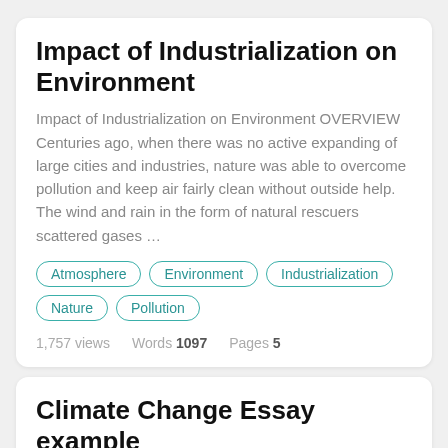Impact of Industrialization on Environment
Impact of Industrialization on Environment OVERVIEW Centuries ago, when there was no active expanding of large cities and industries, nature was able to overcome pollution and keep air fairly clean without outside help. The wind and rain in the form of natural rescuers scattered gases …
Atmosphere
Environment
Industrialization
Nature
Pollution
1,757 views   Words 1097   Pages 5
Climate Change Essay example
ate change is a change in the climatic conditions on the Earth. This is caused due to